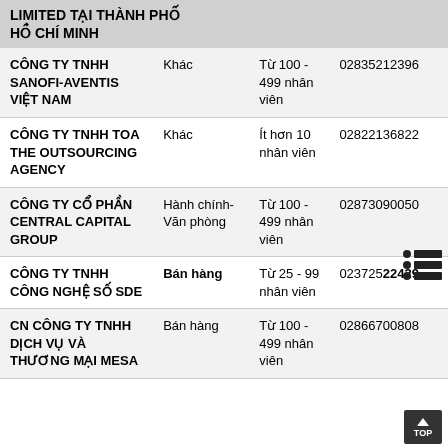LIMITED TẠI THÀNH PHỐ HỒ CHÍ MINH
| Tên công ty | Ngành | Quy mô | Điện thoại |
| --- | --- | --- | --- |
| CÔNG TY TNHH SANOFI-AVENTIS VIỆT NAM | Khác | Từ 100 - 499 nhân viên | 02835212396 |
| CÔNG TY TNHH TOA THE OUTSOURCING AGENCY | Khác | Ít hơn 10 nhân viên | 02822136822 |
| CÔNG TY CỔ PHẦN CENTRAL CAPITAL GROUP | Hành chính-Văn phòng | Từ 100 - 499 nhân viên | 02873090050 |
| CÔNG TY TNHH CÔNG NGHỆ SỐ SDE | Bán hàng | Từ 25 - 99 nhân viên | 02372522429 |
| CN CÔNG TY TNHH DỊCH VỤ VÀ THƯƠNG MẠI MESA | Bán hàng | Từ 100 - 499 nhân viên | 02866700808 |